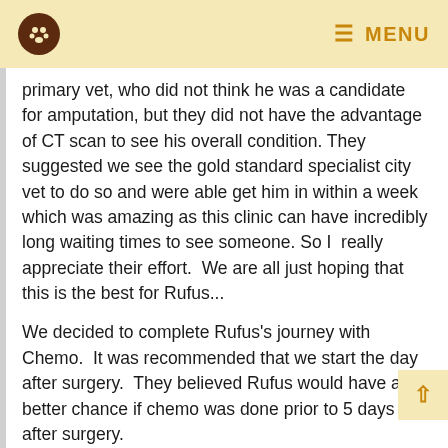MENU
primary vet, who did not think he was a candidate for amputation, but they did not have the advantage of CT scan to see his overall condition. They suggested we see the gold standard specialist city vet to do so and were able get him in within a week which was amazing as this clinic can have incredibly long waiting times to see someone. So I  really appreciate their effort.  We are all just hoping that this is the best for Rufus...
We decided to complete Rufus's journey with Chemo.  It was recommended that we start the day after surgery.  They believed Rufus would have a better chance if chemo was done prior to 5 days after surgery.
They nearly kept him an extra day  due to no appetite... (probably due to the chemo) but we managed to get a little bit of peanut butter in him to take a pill so he was allowed to come home. The evening pills were a challenge though... but got there in the end.